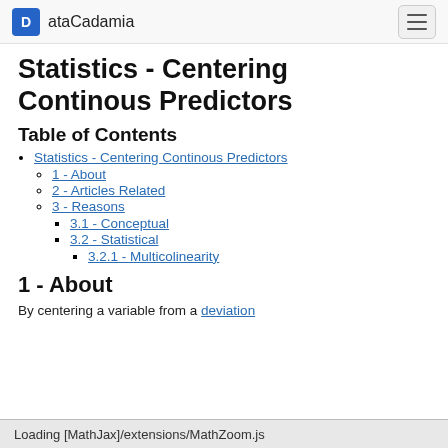ataCadamia
Statistics - Centering Continous Predictors
Table of Contents
Statistics - Centering Continous Predictors
1 - About
2 - Articles Related
3 - Reasons
3.1 - Conceptual
3.2 - Statistical
3.2.1 - Multicolinearity
1 - About
By centering a variable from a deviation
Loading [MathJax]/extensions/MathZoom.js